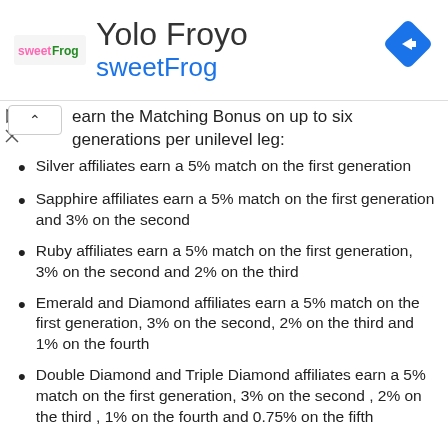Yolo Froyo | sweetFrog
earn the Matching Bonus on up to six generations per unilevel leg:
Silver affiliates earn a 5% match on the first generation
Sapphire affiliates earn a 5% match on the first generation and 3% on the second
Ruby affiliates earn a 5% match on the first generation, 3% on the second and 2% on the third
Emerald and Diamond affiliates earn a 5% match on the first generation, 3% on the second, 2% on the third and 1% on the fourth
Double Diamond and Triple Diamond affiliates earn a 5% match on the first generation, 3% on the second , 2% on the third , 1% on the fourth and 0.75% on the fifth